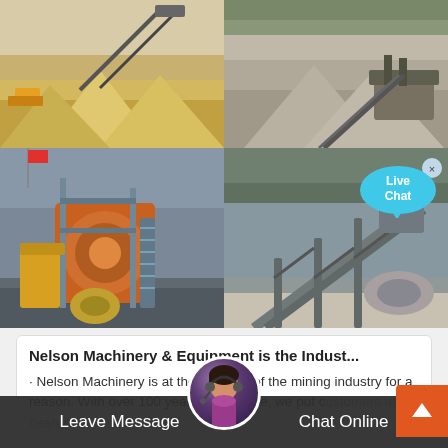[Figure (photo): Top-left quarry/mining site with conveyor belts and sand piles]
[Figure (photo): Top-right mining site with machinery and gravel piles]
[Figure (photo): Bottom-left orange industrial washing/screening machine at mining site]
[Figure (photo): Bottom-right conveyor belt system at outdoor mining/quarry site with Live Chat bubble overlay]
Nelson Machinery & Equipment is the Indust...
· Nelson Machinery is at the forefront of the mining industry for a reason. With over 100 years experience, we put customers at the heart o... everything we do. Min... our bread and butter,
[Figure (photo): Customer service avatar/headset agent circle photo]
Leave Message
Chat Online